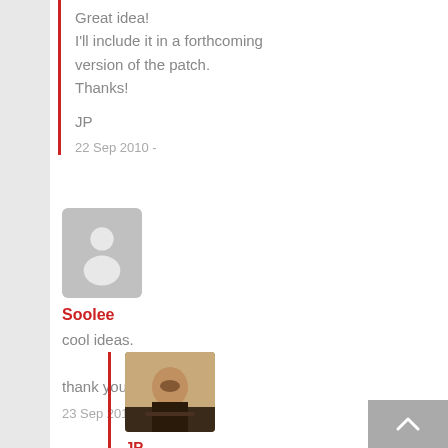Great idea!
I'll include it in a forthcoming version of the patch.
Thanks!

JP
22 Sep 2010 -
[Figure (illustration): Grey placeholder avatar with silhouette person icon]
Soolee
cool ideas.

thank you.
23 Sep 2010 - Reply
[Figure (photo): Photo of JP, a man with beard playing guitar on stage]
JP